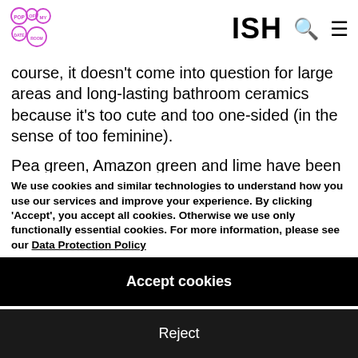ISH
course, it doesn't come into question for large areas and long-lasting bathroom ceramics because it's too cute and too one-sided (in the sense of too feminine).
Pea green, Amazon green and lime have been
We use cookies and similar technologies to understand how you use our services and improve your experience. By clicking 'Accept', you accept all cookies. Otherwise we use only functionally essential cookies. For more information, please see our Data Protection Policy
Accept cookies
Reject